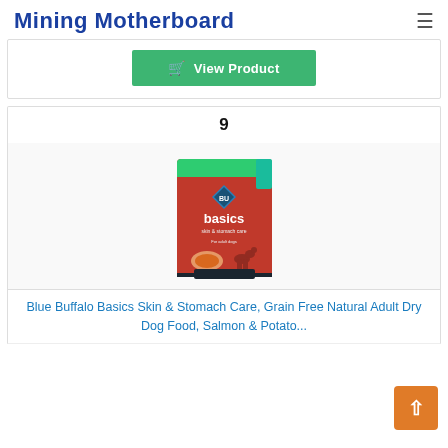Mining Motherboard
[Figure (other): Green 'View Product' button with shopping cart icon]
9
[Figure (photo): Blue Buffalo Basics Skin & Stomach Care dog food bag — red/green packaging with blue diamond logo, silhouette of a dog, salmon shown on front]
Blue Buffalo Basics Skin & Stomach Care, Grain Free Natural Adult Dry Dog Food, Salmon & Potato...